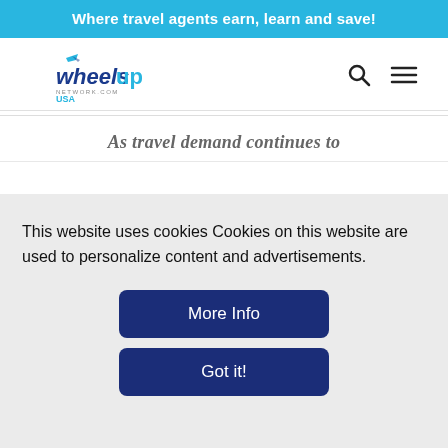Where travel agents earn, learn and save!
[Figure (logo): WheelsUp Network.com USA logo with airplane icon]
As travel demand continues to
This website uses cookies Cookies on this website are used to personalize content and advertisements.
More Info
Got it!